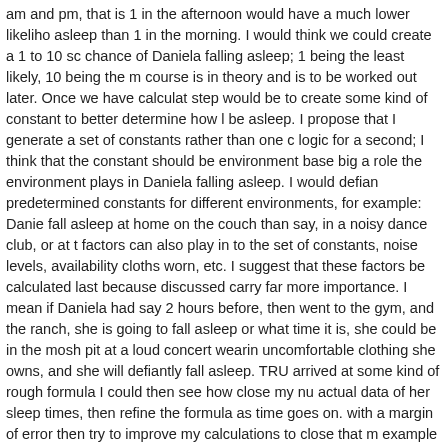am and pm, that is 1 in the afternoon would have a much lower likelihood of falling asleep than 1 in the morning. I would think we could create a 1 to 10 scale showing the chance of Daniela falling asleep; 1 being the least likely, 10 being the most likely. This of course is in theory and is to be worked out later. Once we have calculated this, the next step would be to create some kind of constant to better determine how likely Daniela is to be asleep. I propose that I generate a set of constants rather than one constant. Follow my logic for a second; I think that the constant should be environment based depending on how big a role the environment plays in Daniela falling asleep. I would define a set of predetermined constants for different environments, for example: Daniela is more likely to fall asleep at home on the couch than say, in a noisy dance club, or at the gym. Other factors can also play in to the set of constants, noise levels, availability of a bed, type of cloths worn, etc. I suggest that these factors be calculated last because the factors already discussed carry far more importance. I mean if Daniela had say 2 hours of sleep the night before, then went to the gym, and the ranch, she is going to fall asleep regardless of where or what time it is, she could be in the mosh pit at a loud concert wearing the most uncomfortable clothing she owns, and she will defiantly fall asleep. TRUE STORY. Once I have arrived at some kind of rough formula I could then see how close my numbers are to the actual data of her sleep times, then refine the formula as time goes on. I would also work with a margin of error then try to improve my calculations to close that margin. For example say I have calculated that Daniela will be asleep tonight for 1 hour, with a margin of 30 minutes, as long as the actual sleep time falls in that range we are in business. I could start with a very wide range; following the above example replacing the margin of error with 1 full hour. So she can be asleep anywhere from 0 to 2 hours and I can still call that a success. Replacing the margin of error with the predicted sleep time I h